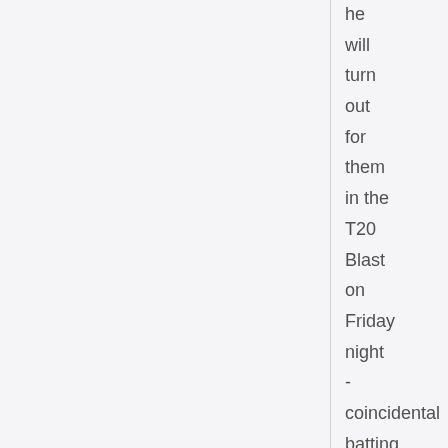he will turn out for them in the T20 Blast on Friday night - coincidentally batting at No.